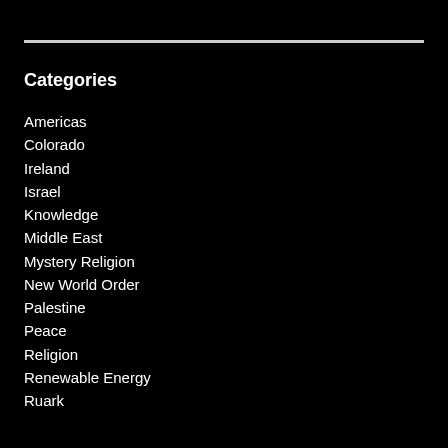Categories
Americas
Colorado
Ireland
Israel
Knowledge
Middle East
Mystery Religion
New World Order
Palestine
Peace
Religion
Renewable Energy
Ruark